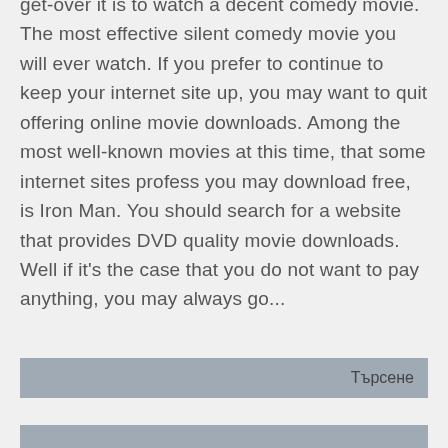get-over it is to watch a decent comedy movie. The most effective silent comedy movie you will ever watch. If you prefer to continue to keep your internet site up, you may want to quit offering online movie downloads. Among the most well-known movies at this time, that some internet sites profess you may download free, is Iron Man. You should search for a website that provides DVD quality movie downloads. Well if it's the case that you do not want to pay anything, you may always go...